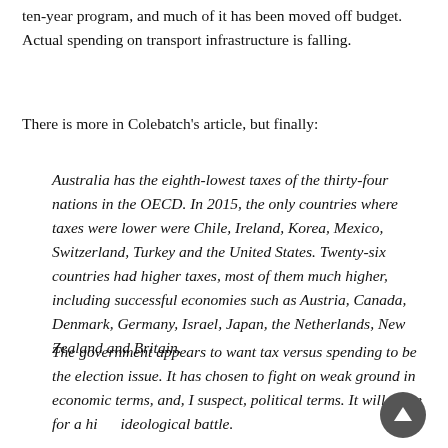ten-year program, and much of it has been moved off budget. Actual spending on transport infrastructure is falling.
There is more in Colebatch's article, but finally:
Australia has the eighth-lowest taxes of the thirty-four nations in the OECD. In 2015, the only countries where taxes were lower were Chile, Ireland, Korea, Mexico, Switzerland, Turkey and the United States. Twenty-six countries had higher taxes, most of them much higher, including successful economies such as Austria, Canada, Denmark, Germany, Israel, Japan, the Netherlands, New Zealand and Britain.
The government appears to want tax versus spending to be the election issue. It has chosen to fight on weak ground in economic terms, and, I suspect, political terms. It will make for a hi… ideological battle.